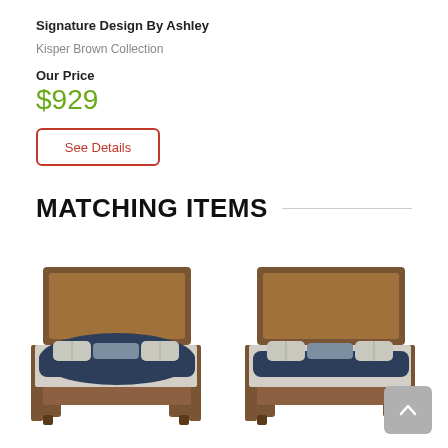Signature Design By Ashley
Kisper Brown Collection
Our Price
$929
See Details
MATCHING ITEMS
[Figure (photo): Two brown wood panel beds with dark navy bedding and decorative pillows, shown side by side as matching furniture items]
[Figure (other): Back to top button with upward arrow, gray rounded rectangle]